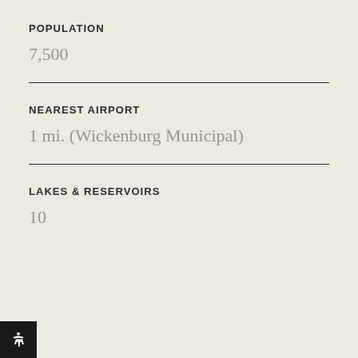POPULATION
7,500
NEAREST AIRPORT
1 mi. (Wickenburg Municipal)
LAKES & RESERVOIRS
10